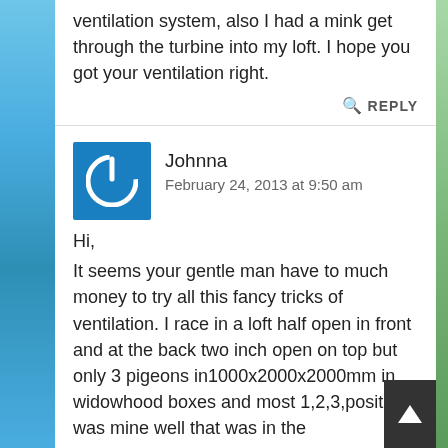ventilation system, also I had a mink get through the turbine into my loft. I hope you got your ventilation right.
REPLY
Johnna
February 24, 2013 at 9:50 am
Hi,
It seems your gentle man have to much money to try all this fancy tricks of ventilation. I race in a loft half open in front and at the back two inch open on top but only 3 pigeons in1000x2000x2000mm in widowhood boxes and most 1,2,3,positions was mine well that was in the